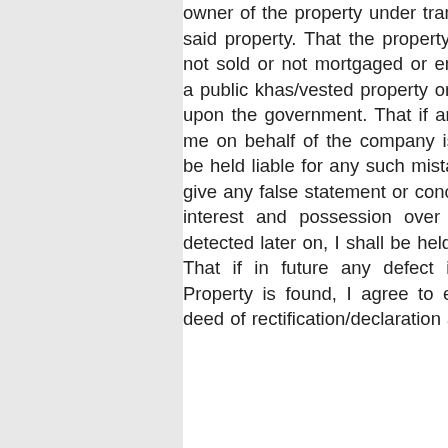owner of the property under transfer and no one has any share in the said property. That the property is not under any contract for sale or not sold or not mortgaged or encumbered otherwise. Further it is not a public khas/vested property or abandoned or it has not been vested upon the government. That if any of the declarations made herein by me on behalf of the company is ever found to be not correct, I shall be held liable for any such mistake or misrepresentation and in case I give any false statement or conceal the truth as regards my right, title, interest and possession over the scheduled property and if it is detected later on, I shall be held liable for committing criminal offence. That if in future any defect in the description of the Scheduled Property is found, I agree to execute and register a fresh deed or deed of rectification/declaration as